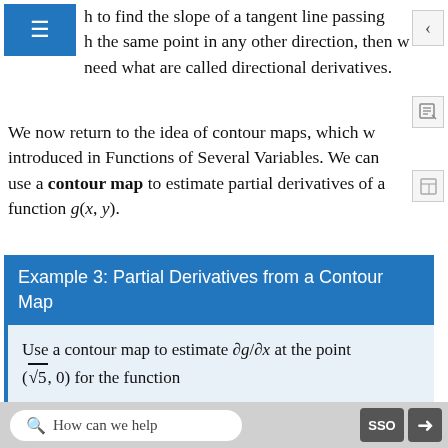h to find the slope of a tangent line passing h the same point in any other direction, then w need what are called directional derivatives.
We now return to the idea of contour maps, which w introduced in Functions of Several Variables. We can use a contour map to estimate partial derivatives of a function g(x, y).
Example 3: Partial Derivatives from a Contour Map
Use a contour map to estimate ∂g/∂x at the point (√5, 0) for the function
How can we help      SSO